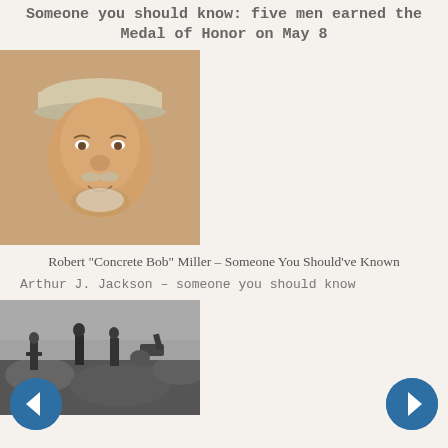Someone you should know: five men earned the Medal of Honor on May 8
[Figure (photo): Photo of an older man smiling, wearing a cap, with a white mustache and beard]
Robert "Concrete Bob" Miller – Someone You Should've Known
Arthur J. Jackson – someone you should know
[Figure (photo): Black and white photo of soldiers on rocky terrain with what appears to be artillery equipment]